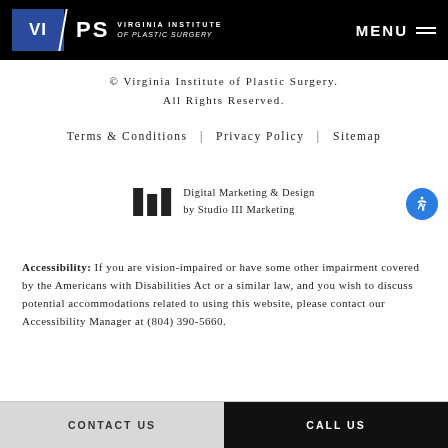VIPS VIRGINIA INSTITUTE of PLASTIC SURGERY | MENU
© Virginia Institute of Plastic Surgery. All Rights Reserved.
Terms & Conditions  |  Privacy Policy  |  Sitemap
[Figure (logo): Studio III Marketing logo with three vertical bars and text: Digital Marketing & Design by Studio III Marketing]
Accessibility: If you are vision-impaired or have some other impairment covered by the Americans with Disabilities Act or a similar law, and you wish to discuss potential accommodations related to using this website, please contact our Accessibility Manager at (804) 390-5660.
CONTACT US | CALL US